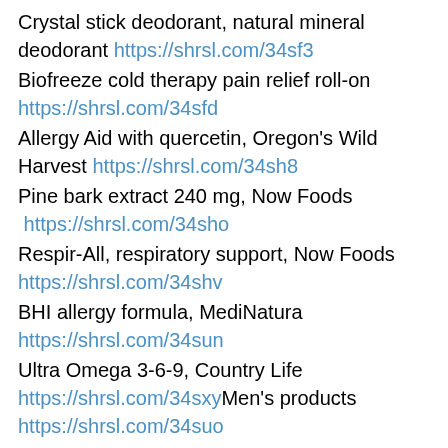Crystal stick deodorant, natural mineral deodorant https://shrsl.com/34sf3
Biofreeze cold therapy pain relief roll-on https://shrsl.com/34sfd
Allergy Aid with quercetin, Oregon's Wild Harvest https://shrsl.com/34sh8
Pine bark extract 240 mg, Now Foods  https://shrsl.com/34sho
Respir-All, respiratory support, Now Foods https://shrsl.com/34shv
BHI allergy formula, MediNatura https://shrsl.com/34sun
Ultra Omega 3-6-9, Country Life https://shrsl.com/34sxyMen's products https://shrsl.com/34suo
Women's products https://shrsl.com/34suq
Pet products https://shrsl.com/34sur
Mental health products https://shrsl.com/34sv1
Save Dollar Stores